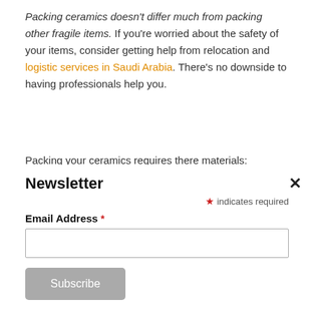Packing ceramics doesn't differ much from packing other fragile items. If you're worried about the safety of your items, consider getting help from relocation and logistic services in Saudi Arabia. There's no downside to having professionals help you.
Packing your ceramics requires there materials:
Microfiber cloth
Packing paper
Newsletter
* indicates required
Email Address *